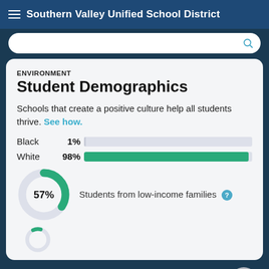Southern Valley Unified School District
ENVIRONMENT
Student Demographics
Schools that create a positive culture help all students thrive. See how.
[Figure (bar-chart): Race/Ethnicity Demographics]
[Figure (donut-chart): Students from low-income families]
[Figure (donut-chart): Additional metric]